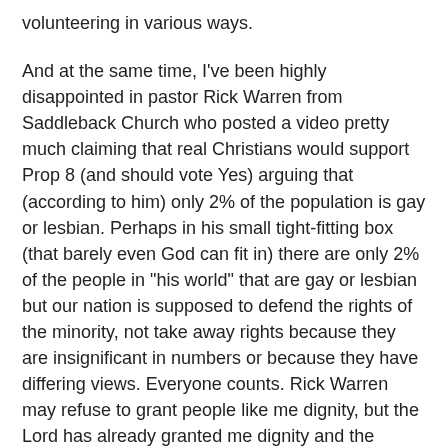volunteering in various ways.
And at the same time, I've been highly disappointed in pastor Rick Warren from Saddleback Church who posted a video pretty much claiming that real Christians would support Prop 8 (and should vote Yes) arguing that (according to him) only 2% of the population is gay or lesbian. Perhaps in his small tight-fitting box (that barely even God can fit in) there are only 2% of the people in "his world" that are gay or lesbian but our nation is supposed to defend the rights of the minority, not take away rights because they are insignificant in numbers or because they have differing views. Everyone counts. Rick Warren may refuse to grant people like me dignity, but the Lord has already granted me dignity and the California Supreme Court has as well. In my opinion, what Rick Warren said was unChristian and unAmerican.
I know that this is a divisive issue in our country. But we have before us the history books being written right before our eyes. California can be the first state in the union to vote down an attempt to amend their constitution in order to